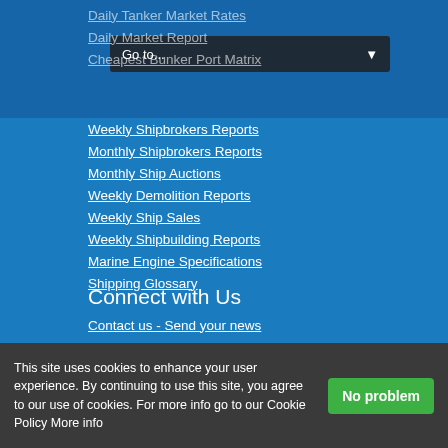Daily Tanker Market Rates
Daily Market Report
Cheapest Bunker Port Matrix
Weekly Shipbrokers Reports
Monthly Shipbrokers Reports
Monthly Ship Auctions
Weekly Demolition Reports
Weekly Ship Sales
Weekly Shipbuilding Reports
Marine Engine Specifications
Shipping Glossary
Connect with Us
Contact us - Send your news
Cookie Policy
Privacy Policy
Subscribe to our free daily newsletter
Stock Market News
This site uses cookies to enhance your user experience. By continuing to use this site, you agree to our use of cookies. For more info go to our Cookie Policy More info